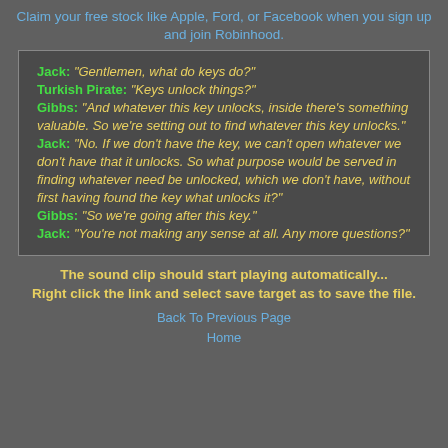Claim your free stock like Apple, Ford, or Facebook when you sign up and join Robinhood.
Jack: "Gentlemen, what do keys do?" Turkish Pirate: "Keys unlock things?" Gibbs: "And whatever this key unlocks, inside there's something valuable. So we're setting out to find whatever this key unlocks." Jack: "No. If we don't have the key, we can't open whatever we don't have that it unlocks. So what purpose would be served in finding whatever need be unlocked, which we don't have, without first having found the key what unlocks it?" Gibbs: "So we're going after this key." Jack: "You're not making any sense at all. Any more questions?"
The sound clip should start playing automatically... Right click the link and select save target as to save the file.
Back To Previous Page
Home